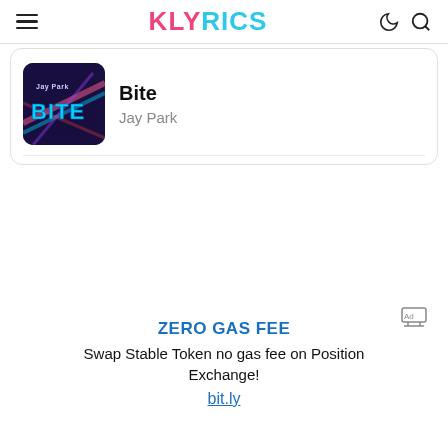KLYRICS
[Figure (screenshot): Album art for Jay Park's 'Bite' — dark blue/purple background with colorful text 'Jay Park BITE']
Bite
Jay Park
[Figure (other): Small advertisement icon]
ZERO GAS FEE
Swap Stable Token no gas fee on Position Exchange!
bit.ly